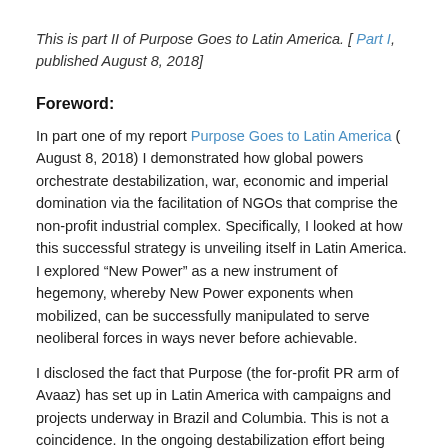This is part II of Purpose Goes to Latin America. [ Part I, published August 8, 2018]
Foreword:
In part one of my report Purpose Goes to Latin America ( August 8, 2018) I demonstrated how global powers orchestrate destabilization, war, economic and imperial domination via the facilitation of NGOs that comprise the non-profit industrial complex. Specifically, I looked at how this successful strategy is unveiling itself in Latin America. I explored “New Power” as a new instrument of hegemony, whereby New Power exponents when mobilized, can be successfully manipulated to serve neoliberal forces in ways never before achievable.
I disclosed the fact that Purpose (the for-profit PR arm of Avaaz) has set up in Latin America with campaigns and projects underway in Brazil and Columbia. This is not a coincidence. In the ongoing destabilization effort being waged against Venezuela, Columbia is being used as a base to launch further aggression. [August 9, 2018: Colombia Can Not Lend Itself to a Foreign Intervention against Venezuela] Consider Purpose “movements” are not decrying the more than 300